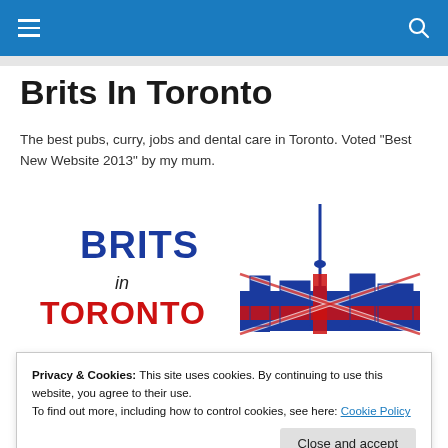Navigation bar with hamburger menu and search icon
Brits In Toronto
The best pubs, curry, jobs and dental care in Toronto. Voted "Best New Website 2013" by my mum.
[Figure (logo): Brits in Toronto logo: text 'BRITS in TORONTO' with a Toronto skyline silhouette overlaid with Union Jack flag in blue, red and white colors]
Privacy & Cookies: This site uses cookies. By continuing to use this website, you agree to their use.
To find out more, including how to control cookies, see here: Cookie Policy

Close and accept